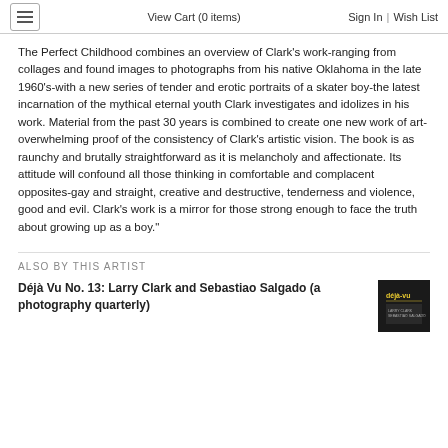View Cart (0 items)  Sign In  |  Wish List
The Perfect Childhood combines an overview of Clark's work-ranging from collages and found images to photographs from his native Oklahoma in the late 1960's-with a new series of tender and erotic portraits of a skater boy-the latest incarnation of the mythical eternal youth Clark investigates and idolizes in his work. Material from the past 30 years is combined to create one new work of art-overwhelming proof of the consistency of Clark's artistic vision. The book is as raunchy and brutally straightforward as it is melancholy and affectionate. Its attitude will confound all those thinking in comfortable and complacent opposites-gay and straight, creative and destructive, tenderness and violence, good and evil. Clark's work is a mirror for those strong enough to face the truth about growing up as a boy."
ALSO BY THIS ARTIST
Déjà Vu No. 13: Larry Clark and Sebastiao Salgado (a photography quarterly)